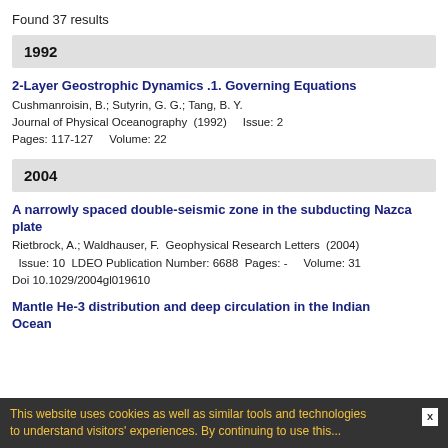Found 37 results
1992
2-Layer Geostrophic Dynamics .1. Governing Equations
Cushmanroisin, B.; Sutyrin, G. G.; Tang, B. Y.
Journal of Physical Oceanography (1992)    Issue: 2
Pages: 117-127    Volume: 22
2004
A narrowly spaced double-seismic zone in the subducting Nazca plate
Rietbrock, A.; Waldhauser, F.  Geophysical Research Letters  (2004)   Issue: 10  LDEO Publication Number: 6688  Pages: -    Volume: 31
Doi 10.1029/2004gl019610
Mantle He-3 distribution and deep circulation in the Indian Ocean
This website uses cookies as well as similar tools and technologies to understand visitors' experiences. By continuing to use this...